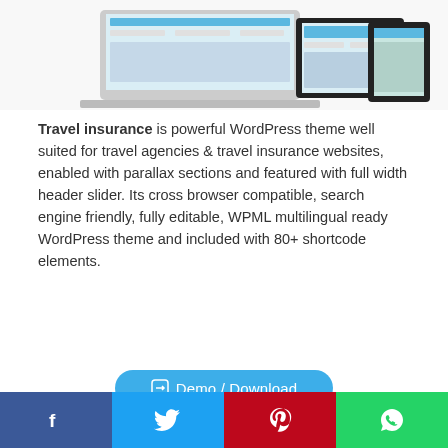[Figure (screenshot): Responsive website mockup on laptop, tablet, and phone devices showing travel insurance website]
Travel insurance is powerful WordPress theme well suited for travel agencies & travel insurance websites, enabled with parallax sections and featured with full width header slider. Its cross browser compatible, search engine friendly, fully editable, WPML multilingual ready WordPress theme and included with 80+ shortcode elements.
Demo / Download
Art Expo Room WordPress Theme
[Figure (screenshot): Art Expo Room WordPress Theme preview showing Good Way art gallery website]
[Figure (infographic): Social share bar with Facebook, Twitter, Pinterest and WhatsApp buttons]